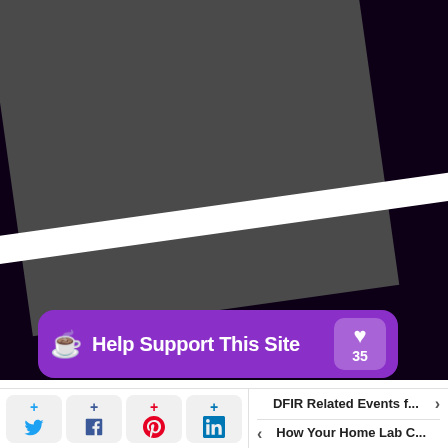[Figure (screenshot): Dark purple/navy background with a large dark gray angled panel and a white diagonal stripe, forming an abstract geometric graphic typical of a website hero or banner area.]
[Figure (screenshot): Purple rounded button reading 'Help Support This Site' with a coffee cup emoji on the left and a heart icon with the number 35 on the right, on a dark background.]
[Figure (screenshot): Bottom navigation bar with four social share buttons (Twitter, Facebook, Pinterest, LinkedIn) each showing a plus sign and the social icon, and two navigation links: 'DFIR Related Events f...' with a right arrow, and 'How Your Home Lab C...' with a left arrow.]